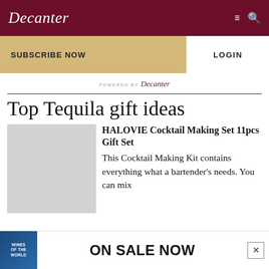Decanter
SUBSCRIBE NOW   LOGIN
POWERED BY Decanter
Top Tequila gift ideas
[Figure (photo): Product image placeholder (gray square) for HALOVIE Cocktail Making Set]
HALOVIE Cocktail Making Set 11pcs Gift Set
This Cocktail Making Kit contains everything what a bartender's needs. You can mix
[Figure (infographic): Advertisement banner: book cover for Wines of the World on left, ON SALE NOW text on right with close button]